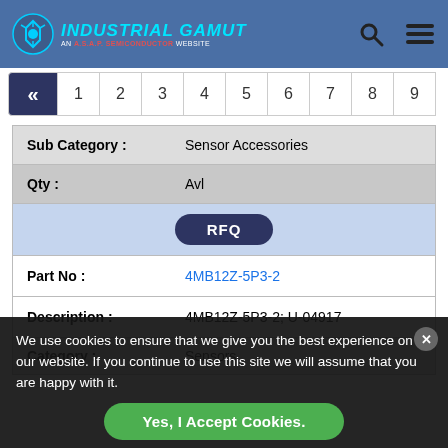INDUSTRIAL GAMUT - AN A.S.A.P. SEMICONDUCTOR WEBSITE
<< 1 2 3 4 5 6 7 8 9
| Sub Category : | Sensor Accessories |
| Qty : | Avl |
|  | RFQ |
| Part No : | 4MB12Z-5P3-2 |
| Description : | 4MB12Z-5P3-2; U-04917 |
| Category : | Sensors |
We use cookies to ensure that we give you the best experience on our website. If you continue to use this site we will assume that you are happy with it.
Yes, I Accept Cookies.